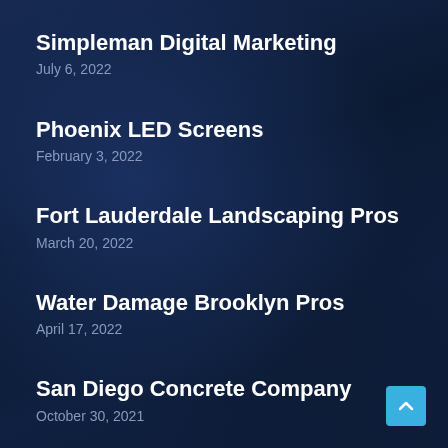Simpleman Digital Marketing
July 6, 2022
Phoenix LED Screens
February 3, 2022
Fort Lauderdale Landscaping Pros
March 20, 2022
Water Damage Brooklyn Pros
April 17, 2022
San Diego Concrete Company
October 30, 2021